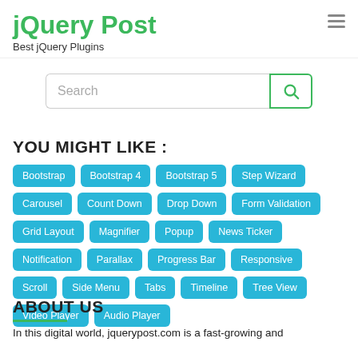jQuery Post
Best jQuery Plugins
[Figure (other): Search input box with search button icon]
YOU MIGHT LIKE :
Bootstrap
Bootstrap 4
Bootstrap 5
Step Wizard
Carousel
Count Down
Drop Down
Form Validation
Grid Layout
Magnifier
Popup
News Ticker
Notification
Parallax
Progress Bar
Responsive
Scroll
Side Menu
Tabs
Timeline
Tree View
Video Player
Audio Player
ABOUT US
In this digital world, jquerypost.com is a fast-growing and